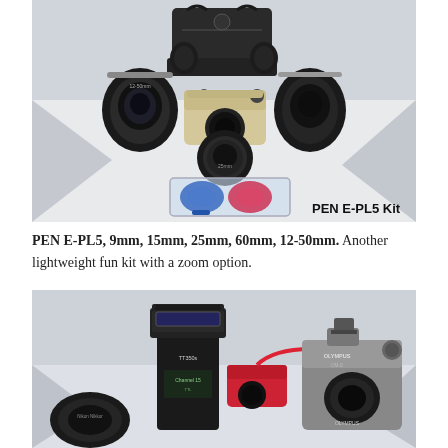[Figure (photo): Top-down product photo of a PEN E-PL5 camera kit on a white background, showing the silver Olympus PEN E-PL5 camera body, multiple lenses (9mm, 15mm, 25mm, 60mm, 12-50mm), a black camera bag, and a clear case with blue and red lens caps. Text overlay reads 'PEN E-PL5 Kit'.]
PEN E-PL5, 9mm, 15mm, 25mm, 60mm, 12-50mm. Another lightweight fun kit with a zoom option.
[Figure (photo): Partial product photo showing an Olympus OM-D camera body in silver/black with a red strap, an external flash unit (TTL flash, Channel 15), and a lens with cap, all on a white background.]